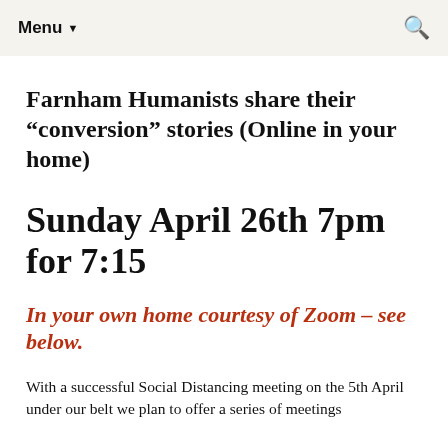Menu ▼
Farnham Humanists share their “conversion” stories (Online in your home)
Sunday April 26th 7pm for 7:15
In your own home courtesy of Zoom – see below.
With a successful Social Distancing meeting on the 5th April under our belt we plan to offer a series of meetings